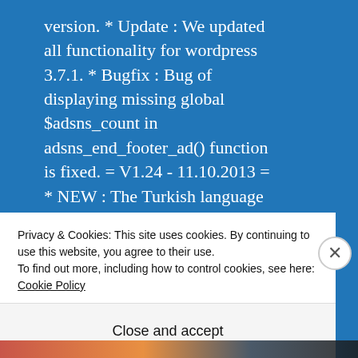version. * Update : We updated all functionality for wordpress 3.7.1. * Bugfix : Bug of displaying missing global $adsns_count in adsns_end_footer_ad() function is fixed. = V1.24 - 11.10.2013 = * NEW : The Turkish language file is added to the plugin. * NEW : Added an ability to use plugin when ad client id doesn't start with 'pub-'. = V1.23 -
Privacy & Cookies: This site uses cookies. By continuing to use this website, you agree to their use.
To find out more, including how to control cookies, see here: Cookie Policy
Close and accept